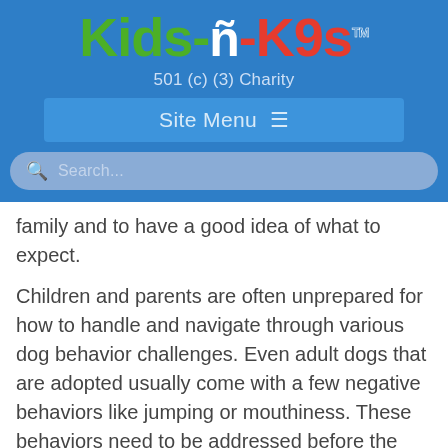[Figure (logo): Kids-n-K9s logo with colorful text: 'Kids' in green, 'n' in blue outlined in white with dots, 'K9s' in red, followed by TM superscript]
501 (c) (3) Charity
Site Menu ≡
Search...
family and to have a good idea of what to expect.
Children and parents are often unprepared for how to handle and navigate through various dog behavior challenges. Even adult dogs that are adopted usually come with a few negative behaviors like jumping or mouthiness. These behaviors need to be addressed before the dog can learn new and more acceptable behaviors